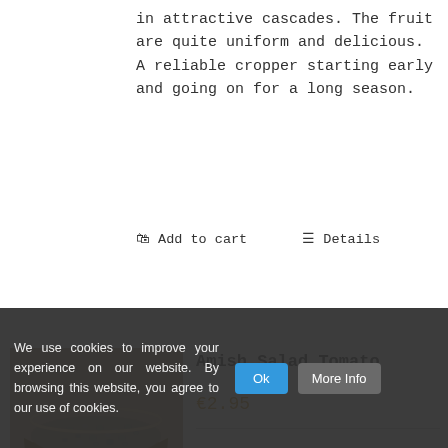in attractive cascades. The fruit are quite uniform and delicious. A reliable cropper starting early and going on for a long season.
🛒 Add to cart   ☰ Details
Amish Salad Tomato
€2.95
[Figure (photo): Bowl of seeds on wooden surface]
This is a very rare variety coming
We use cookies to improve your experience on our website. By browsing this website, you agree to our use of cookies.